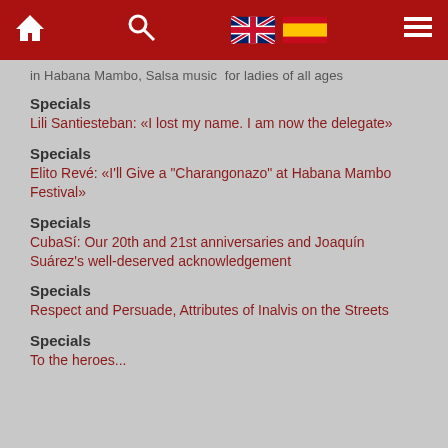Navigation bar with home, search, UK flag, ES flag, menu icons
in Habana Mambo, Salsa music  for ladies of all ages
Specials
Lili Santiesteban: «I lost my name. I am now the delegate»
Specials
Elito Revé: «I'll Give a "Charangonazo" at Habana Mambo Festival»
Specials
CubaSí: Our 20th and 21st anniversaries and Joaquín Suárez's well-deserved acknowledgement
Specials
Respect and Persuade, Attributes of Inalvis on the Streets
Specials
To the heroes...